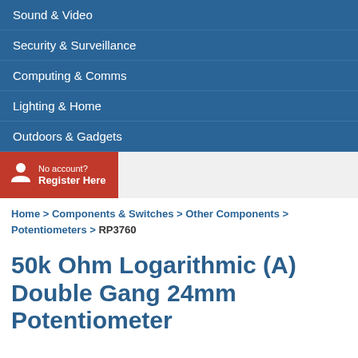Sound & Video
Security & Surveillance
Computing & Comms
Lighting & Home
Outdoors & Gadgets
No account? Register Here
Home > Components & Switches > Other Components > Potentiometers > RP3760
50k Ohm Logarithmic (A) Double Gang 24mm Potentiometer